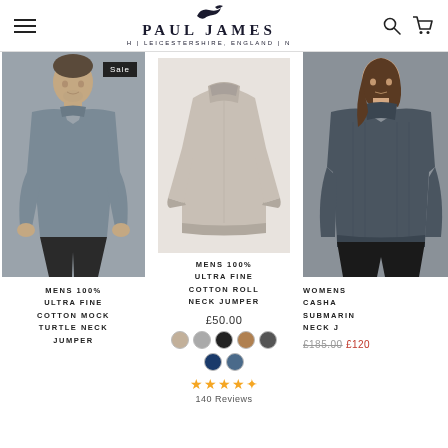PAUL JAMES | LEICESTERSHIRE, ENGLAND |
[Figure (photo): Man wearing grey mock turtle neck jumper, grey background, Sale badge top right]
MENS 100% ULTRA FINE COTTON MOCK TURTLE NECK JUMPER
[Figure (photo): Beige/taupe roll neck jumper on white/light beige background, no model]
MENS 100% ULTRA FINE COTTON ROLL NECK JUMPER
£50.00
[Figure (other): 7 colour swatches: taupe, grey, black, tan, dark grey, navy, steel blue]
140 Reviews
[Figure (photo): Woman wearing dark grey submarine neck jumper, partially cropped on right]
WOMENS CASHA SUBMARINE NECK J...
£185.00  £120